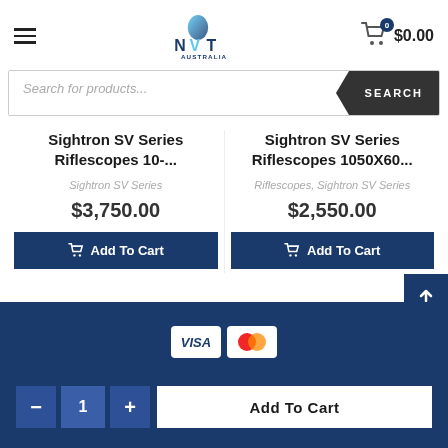[Figure (logo): NVT Australia logo with kangaroo silhouette in blue gradient]
$0.00
Search for products...
SEARCH
Sightron SV Series Riflescopes 10-...
Sightron SV Series
$3,750.00
Add To Cart
Sightron SV Series Riflescopes 1050X60...
Riflescopes, Sightron SV Series
$2,550.00
Add To Cart
Add To Cart